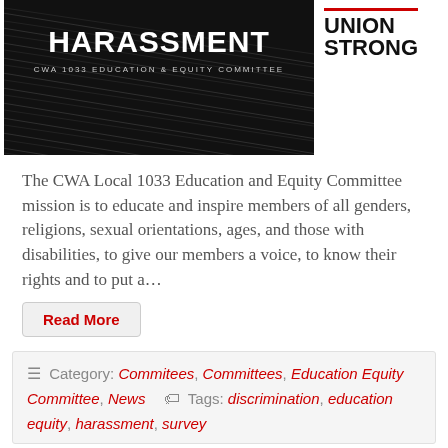[Figure (illustration): Dark background image with diagonal light streaks, large bold white text reading 'HARASSMENT' and subtitle 'CWA 1033 EDUCATION & EQUITY COMMITTEE'. To the right is a 'UNION STRONG' logo with red top border.]
The CWA Local 1033 Education and Equity Committee mission is to educate and inspire members of all genders, religions, sexual orientations, ages, and those with disabilities, to give our members a voice, to know their rights and to put a…
Read More
☰ Category: Commitees, Committees, Education Equity Committee, News  🏷 Tags: discrimination, education equity, harassment, survey